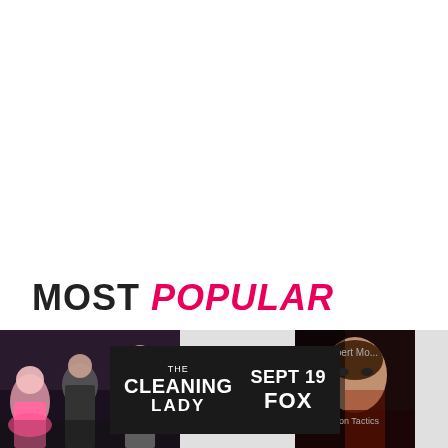MOST POPULAR
[Figure (screenshot): Bottom strip showing a partial photo of people on the left, an ad banner overlay for 'The Cleaning Lady' on FOX Sept 19 in the center, and partially visible text and an image on the right side on a gray background.]